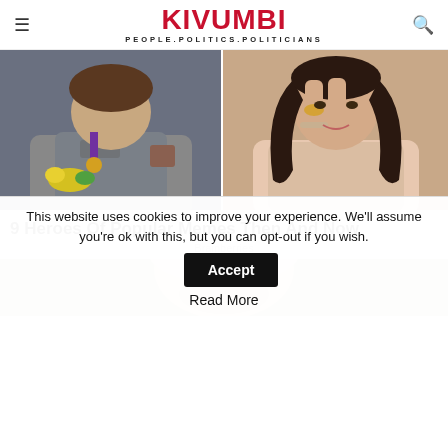KIVUMBI PEOPLE.POLITICS.POLITICIANS
[Figure (photo): Two-panel image: left shows a female gymnast wearing a medal at the 2012 London Olympics with a serious expression holding flowers; right shows a young woman with braided dark hair making a peace sign in a pink outfit.]
9 Heroes Of Popular Memes Then And Now
Brainberries
[Figure (photo): Partial photo of an elderly person with white/blonde hair, hand raised toward face, against a blurred background.]
This website uses cookies to improve your experience. We'll assume you're ok with this, but you can opt-out if you wish.
Accept
Read More